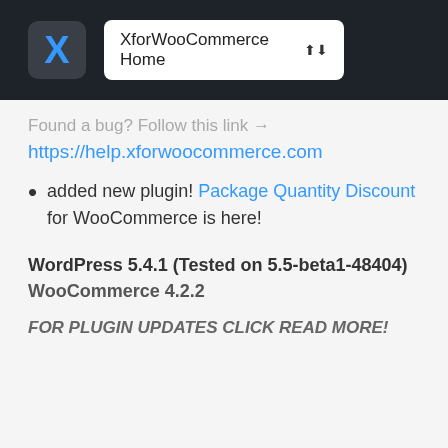XforWooCommerce Home
Found a bug? Follow this link →
https://help.xforwoocommerce.com
added new plugin! Package Quantity Discount for WooCommerce is here!
WordPress 5.4.1 (Tested on 5.5-beta1-48404)
WooCommerce 4.2.2
FOR PLUGIN UPDATES CLICK READ MORE!